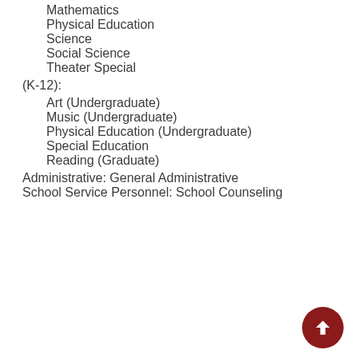Mathematics
Physical Education
Science
Social Science
Theater Special
(K-12):
Art (Undergraduate)
Music (Undergraduate)
Physical Education (Undergraduate)
Special Education
Reading (Graduate)
Administrative: General Administrative
School Service Personnel: School Counseling